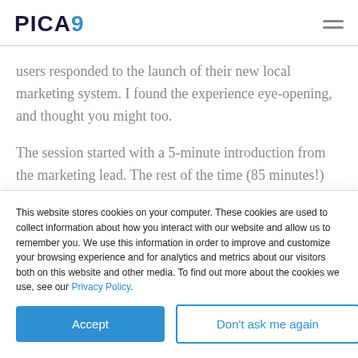[Figure (logo): PICA9 logo in dark navy and blue]
users responded to the launch of their new local marketing system. I found the experience eye-opening, and thought you might too.
The session started with a 5-minute introduction from the marketing lead. The rest of the time (85 minutes!) was
This website stores cookies on your computer. These cookies are used to collect information about how you interact with our website and allow us to remember you. We use this information in order to improve and customize your browsing experience and for analytics and metrics about our visitors both on this website and other media. To find out more about the cookies we use, see our Privacy Policy.
Accept
Don't ask me again